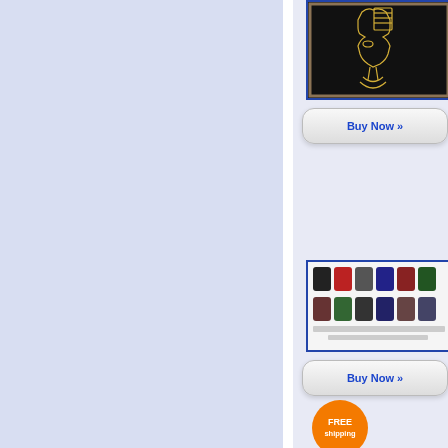[Figure (photo): Left blue-lavender panel, large blank area]
[Figure (photo): Product image: Nefertiti gold string art on black background]
Buy Now »
[Figure (photo): Product image: collection of various socks displayed in grid]
Buy Now »
FREE shipping